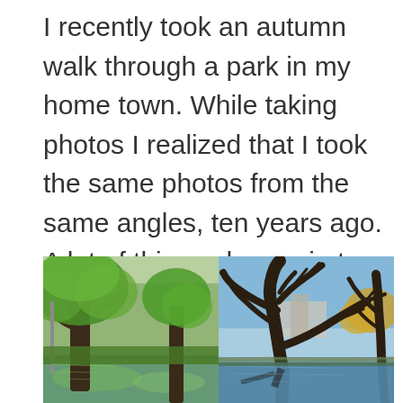I recently took an autumn walk through a park in my home town. While taking photos I realized that I took the same photos from the same angles, ten years ago. A lot of things change in ten years. In addition to increased pixel resolution in digital cameras, trees grow and people age.
[Figure (photo): Two side-by-side park photos showing trees near a pond/river. Left photo shows lush green summer foliage; right photo shows bare/autumn trees with blue sky.]